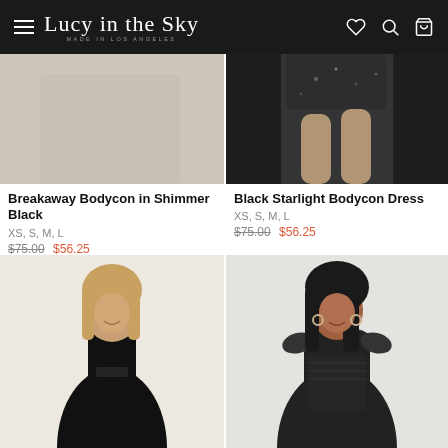Lucy in the Sky — MADE IN LOS ANGELES
[Figure (photo): Partial view of a product photo showing upper portion of Breakaway Bodycon in Shimmer Black — beige/grey background, cropped]
Breakaway Bodycon in Shimmer Black
XS, S, M, L
$75.00  $56.25
[Figure (photo): Partial view of Black Starlight Bodycon Dress — model wearing black sequin/glitter shorts, cropped from mid-torso down]
Black Starlight Bodycon Dress
XS, S, M, L
$75.00  $56.25
[Figure (photo): Model wearing a black bodycon dress with spaghetti straps and mesh detail at chest, smiling, blonde hair, light background]
[Figure (photo): Model wearing a black textured bodycon dress with ruffle/flutter sleeves and sweetheart neckline, dark curly hair, hoop earrings, grey background]